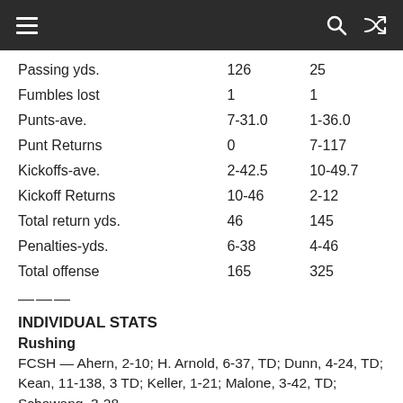≡  🔍  ⇌
|  | Col1 | Col2 |
| --- | --- | --- |
| Passing yds. | 126 | 25 |
| Fumbles lost | 1 | 1 |
| Punts-ave. | 7-31.0 | 1-36.0 |
| Punt Returns | 0 | 7-117 |
| Kickoffs-ave. | 2-42.5 | 10-49.7 |
| Kickoff Returns | 10-46 | 2-12 |
| Total return yds. | 46 | 145 |
| Penalties-yds. | 6-38 | 4-46 |
| Total offense | 165 | 325 |
INDIVIDUAL STATS
Rushing
FCSH — Ahern, 2-10; H. Arnold, 6-37, TD; Dunn, 4-24, TD; Kean, 11-138, 3 TD; Keller, 1-21; Malone, 3-42, TD; Schawang, 3-28.
Passing